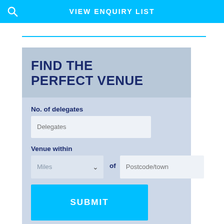VIEW ENQUIRY LIST
FIND THE PERFECT VENUE
No. of delegates
Delegates
Venue within
of
Miles
Postcode/town
SUBMIT